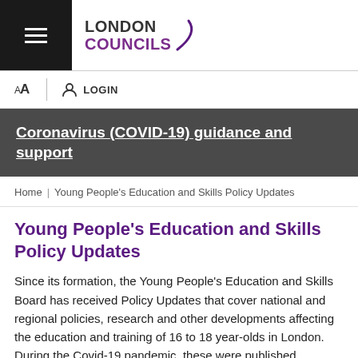[Figure (logo): London Councils logo with hamburger menu icon on black background]
AA  LOGIN
Coronavirus (COVID-19) guidance and support
Home | Young People's Education and Skills Policy Updates
Young People's Education and Skills Policy Updates
Since its formation, the Young People's Education and Skills Board has received Policy Updates that cover national and regional policies, research and other developments affecting the education and training of 16 to 18 year-olds in London. During the Covid-19 pandemic, these were published separately and distributed to a wider audience including leading councillors, borough officers and other partners and